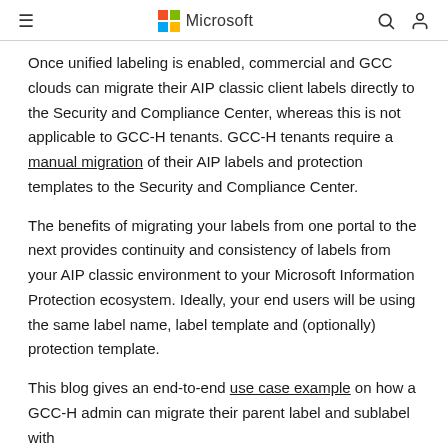Microsoft
Once unified labeling is enabled, commercial and GCC clouds can migrate their AIP classic client labels directly to the Security and Compliance Center, whereas this is not applicable to GCC-H tenants. GCC-H tenants require a manual migration of their AIP labels and protection templates to the Security and Compliance Center.
The benefits of migrating your labels from one portal to the next provides continuity and consistency of labels from your AIP classic environment to your Microsoft Information Protection ecosystem. Ideally, your end users will be using the same label name, label template and (optionally) protection template.
This blog gives an end-to-end use case example on how a GCC-H admin can migrate their parent label and sublabel with